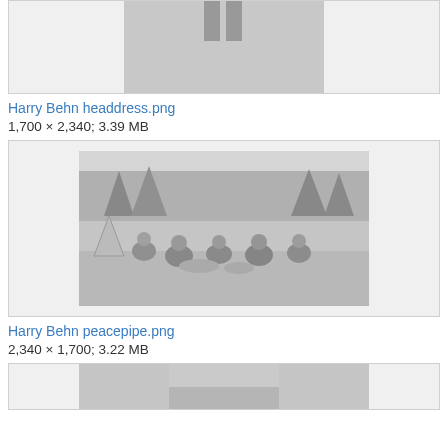[Figure (photo): Black and white photograph of a person in traditional Native American headdress and regalia, standing outdoors. Partial view cut at top of page.]
Harry Behn headdress.png
1,700 × 2,340; 3.39 MB
[Figure (photo): Black and white photograph of a group of people in Native American dress sitting on the ground outdoors, with trees and a tent-like structure in the background.]
Harry Behn peacepipe.png
2,340 × 1,700; 3.22 MB
[Figure (photo): Partial black and white photograph visible at the bottom of the page.]